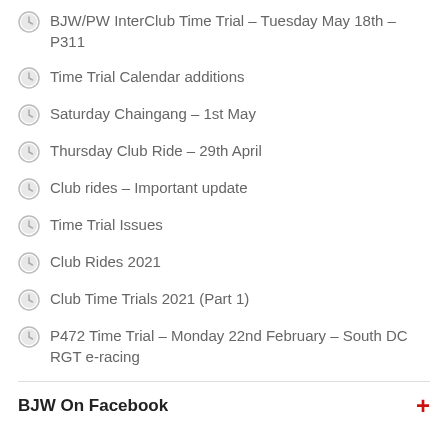BJW/PW InterClub Time Trial – Tuesday May 18th – P311
Time Trial Calendar additions
Saturday Chaingang – 1st May
Thursday Club Ride – 29th April
Club rides – Important update
Time Trial Issues
Club Rides 2021
Club Time Trials 2021 (Part 1)
P472 Time Trial – Monday 22nd February – South DC RGT e-racing
BJW On Facebook